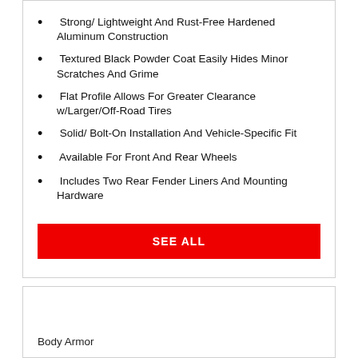Strong/ Lightweight And Rust-Free Hardened Aluminum Construction
Textured Black Powder Coat Easily Hides Minor Scratches And Grime
Flat Profile Allows For Greater Clearance w/Larger/Off-Road Tires
Solid/ Bolt-On Installation And Vehicle-Specific Fit
Available For Front And Rear Wheels
Includes Two Rear Fender Liners And Mounting Hardware
SEE ALL
Body Armor